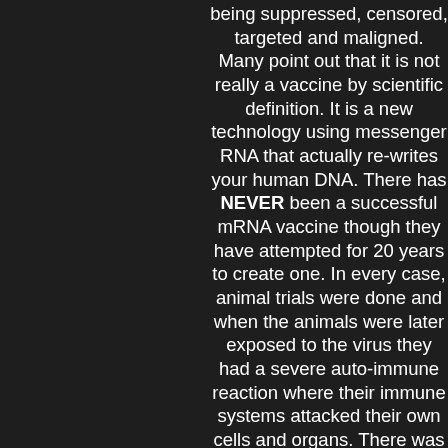being suppressed, censored, targeted and maligned. Many point out that it is not really a vaccine by scientific definition. It is a new technology using messenger RNA that actually re-writes your human DNA. There has NEVER been a successful mRNA vaccine though they have attempted for 20 years to create one. In every case, animal trials were done and when the animals were later exposed to the virus they had a severe auto-immune reaction where their immune systems attacked their own cells and organs. There was